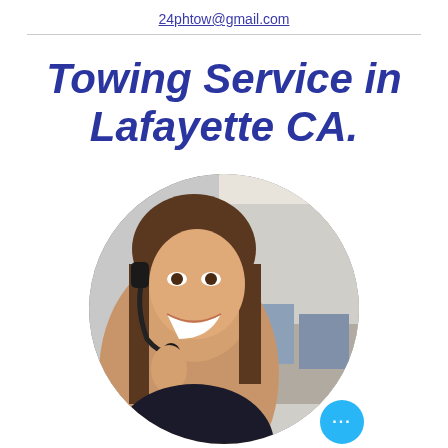24phtow@gmail.com
Towing Service in Lafayette CA.
[Figure (photo): Circular photo of a smiling woman wearing a headset, with an office/call center background. A small cyan circular chat button with three dots is overlaid in the bottom-right of the image.]